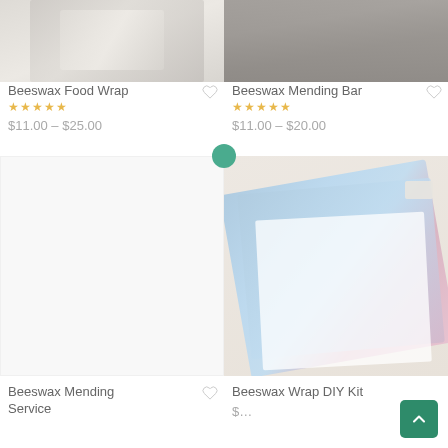[Figure (photo): Beeswax Food Wrap product image, top portion visible]
Beeswax Food Wrap
★★★★★
$11.00 – $25.00
[Figure (photo): Beeswax Mending Bar product image, person wearing gray shirt]
Beeswax Mending Bar
★★★★★
$11.00 – $20.00
[Figure (photo): Beeswax Mending Service product image, mostly white/blank]
Beeswax Mending Service
[Figure (photo): Beeswax Wrap DIY Kit product image, blue floral patterned wraps with booklet]
Beeswax Wrap DIY Kit